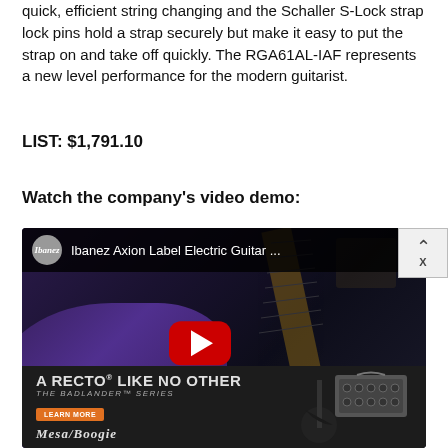quick, efficient string changing and the Schaller S-Lock strap lock pins hold a strap securely but make it easy to put the strap on and take off quickly. The RGA61AL-IAF represents a new level performance for the modern guitarist.
LIST: $1,791.10
Watch the company's video demo:
[Figure (screenshot): YouTube video thumbnail for Ibanez Axion Label Electric Guitar with play button overlay, and Mesa/Boogie Badlander Series advertisement overlay at the bottom]